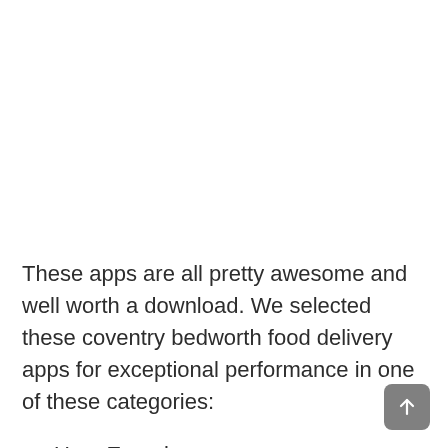These apps are all pretty awesome and well worth a download. We selected these coventry bedworth food delivery apps for exceptional performance in one of these categories:
User Experience
Core Functionality